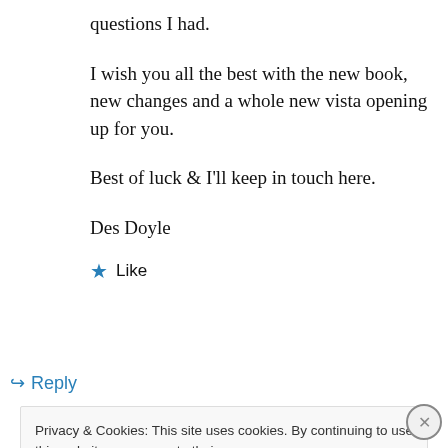questions I had.
I wish you all the best with the new book, new changes and a whole new vista opening up for you.
Best of luck & I'll keep in touch here.
Des Doyle
★ Like
↪ Reply
Privacy & Cookies: This site uses cookies. By continuing to use this website, you agree to their use.
To find out more, including how to control cookies, see here: Cookie Policy
Close and accept